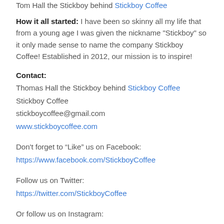Tom Hall the Stickboy behind Stickboy Coffee
How it all started: I have been so skinny all my life that from a young age I was given the nickname "Stickboy" so it only made sense to name the company Stickboy Coffee! Established in 2012, our mission is to inspire!
Contact:
Thomas Hall the Stickboy behind Stickboy Coffee
Stickboy Coffee
stickboycoffee@gmail.com
www.stickboycoffee.com
Don't forget to “Like” us on Facebook:
https://www.facebook.com/StickboyCoffee
Follow us on Twitter:
https://twitter.com/StickboyCoffee
Or follow us on Instagram: